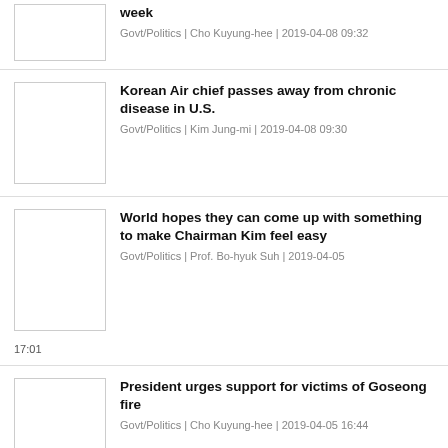week
Govt/Politics | Cho Kuyung-hee | 2019-04-08 09:32
Korean Air chief passes away from chronic disease in U.S.
Govt/Politics | Kim Jung-mi | 2019-04-08 09:30
World hopes they can come up with something to make Chairman Kim feel easy
Govt/Politics | Prof. Bo-hyuk Suh | 2019-04-05 17:01
President urges support for victims of Goseong fire
Govt/Politics | Cho Kuyung-hee | 2019-04-05 16:44
S. Korea struggles to battle worst wildfire on its soil in years